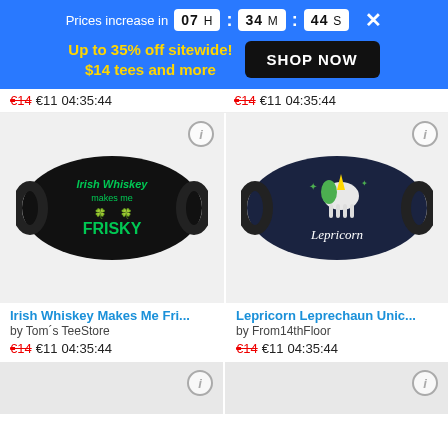Prices increase in 07 H : 34 M : 44 S
Up to 35% off sitewide! $14 tees and more
SHOP NOW
€14 €11 04:35:44
€14 €11 04:35:44
[Figure (photo): Face mask with 'Irish Whiskey Makes Me Frisky' green text on black background]
[Figure (photo): Face mask with 'Lepricorn' unicorn design on dark navy background]
Irish Whiskey Makes Me Fri...
by Tom´s TeeStore
€14 €11 04:35:44
Lepricorn Leprechaun Unic...
by From14thFloor
€14 €11 04:35:44